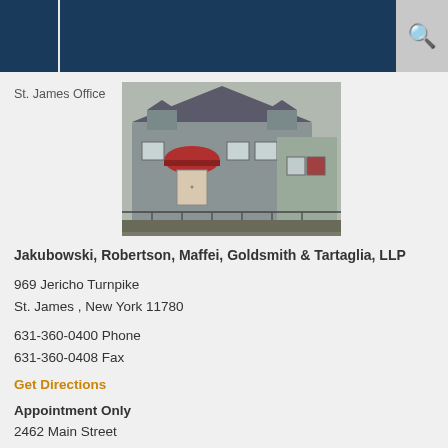St. James Office
[Figure (photo): Exterior photo of the St. James office — a gray residential-style building with a red awning over the entrance, dormer windows, and a parking area with a metal fence in the foreground.]
Jakubowski, Robertson, Maffei, Goldsmith & Tartaglia, LLP
969 Jericho Turnpike
St. James , New York 11780
631-360-0400 Phone
631-360-0408 Fax
Get Directions
Appointment Only
2462 Main Street
Bridgehampton, NY 11932